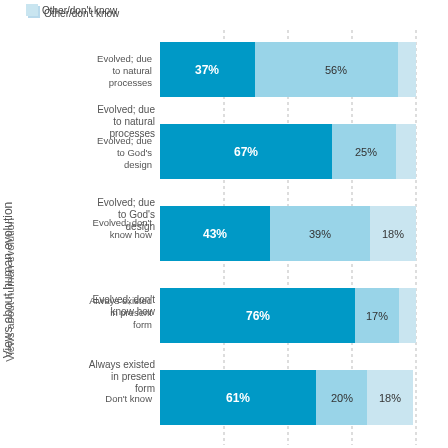[Figure (stacked-bar-chart): Views about human evolution]